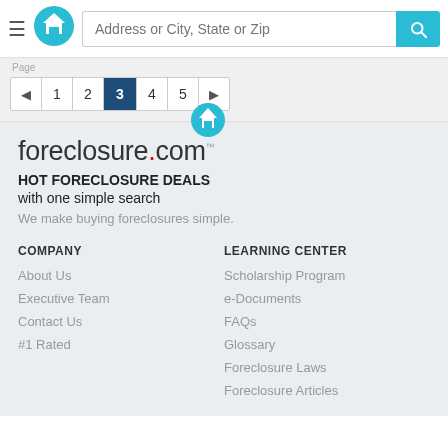Address or City, State or Zip — search header bar with hamburger, home logo, search input, and search button
Page navigation: ◄ 1 2 3 4 5 ►  (page 3 active)
[Figure (logo): foreclosure.com logo with house map pin icon above the dot]
HOT FORECLOSURE DEALS with one simple search
We make buying foreclosures simple.
COMPANY
About Us
Executive Team
Contact Us
#1 Rated
LEARNING CENTER
Scholarship Program
e-Documents
FAQs
Glossary
Foreclosure Laws
Foreclosure Articles